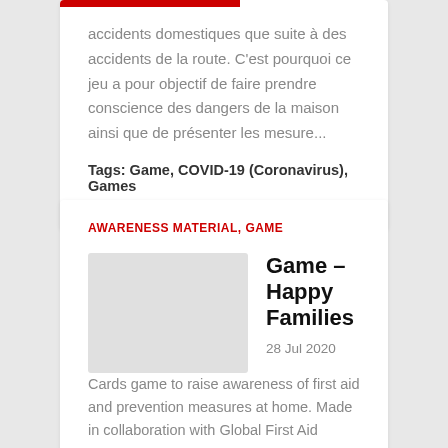accidents domestiques que suite à des accidents de la route. C'est pourquoi ce jeu a pour objectif de faire prendre conscience des dangers de la maison ainsi que de présenter les mesure...
Tags: Game, COVID-19 (Coronavirus), Games
AWARENESS MATERIAL, GAME
Game – Happy Families
28 Jul 2020
Cards game to raise awareness of first aid and prevention measures at home. Made in collaboration with Global First Aid Reference Centre and French Federation for Domestic Risk Prevention. Available in